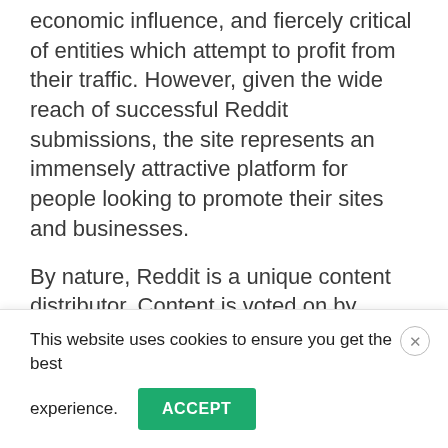economic influence, and fiercely critical of entities which attempt to profit from their traffic. However, given the wide reach of successful Reddit submissions, the site represents an immensely attractive platform for people looking to promote their sites and businesses.
By nature, Reddit is a unique content distributor. Content is voted on by users, with each account able to vote on submissions. Content is thus displayed democratically, based on user feedback. While there is some
This website uses cookies to ensure you get the best experience. ACCEPT